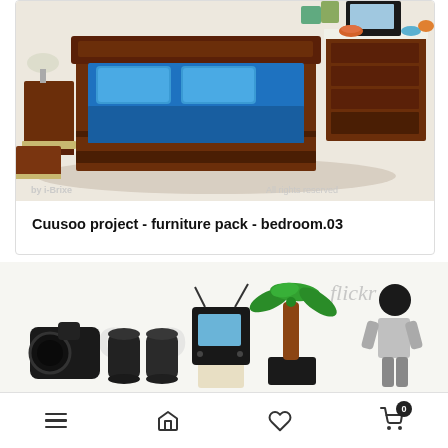[Figure (photo): LEGO bedroom set showing a brown wooden bed frame with blue bedding and pillows, nightstand with lamp on left, and dresser with TV on right. Watermark text reads 'by i-Brixe' bottom left and 'All rights reserved' bottom right.]
Cuusoo project - furniture pack - bedroom.03
[Figure (photo): LEGO mini furniture items on white background: black camera/binoculars on left, black cylindrical objects, small black retro TV with blue screen on white stand, green palm tree in black pot, and a LEGO figure on right. Flickr watermark visible top right.]